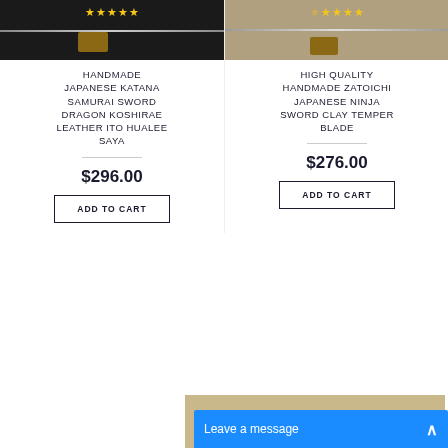[Figure (photo): Handmade Japanese Katana sword product image on dark background with stars rating]
[Figure (photo): High Quality Handmade Zatoichi Japanese Ninja Sword product image on tan/brown background with stars rating]
HANDMADE JAPANESE KATANA SAMURAI SWORD DRAGON KOSHIRAE LEATHER ITO HUALEE SAYA
HIGH QUALITY HANDMADE ZATOICHI JAPANESE NINJA SWORD CLAY TEMPER BLADE
$296.00
$276.00
ADD TO CART
ADD TO CART
Leave a message